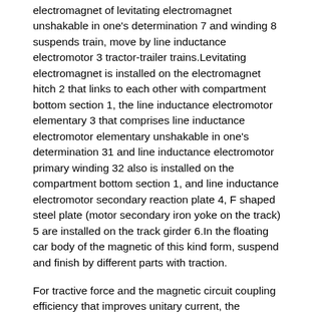electromagnet of levitating electromagnet unshakable in one's determination 7 and winding 8 suspends train, move by line inductance electromotor 3 tractor-trailer trains.Levitating electromagnet is installed on the electromagnet hitch 2 that links to each other with compartment bottom section 1, the line inductance electromotor elementary 3 that comprises line inductance electromotor elementary unshakable in one's determination 31 and line inductance electromotor primary winding 32 also is installed on the compartment bottom section 1, and line inductance electromotor secondary reaction plate 4, F shaped steel plate (motor secondary iron yoke on the track) 5 are installed on the track girder 6.In the floating car body of the magnetic of this kind form, suspend and finish by different parts with traction.
For tractive force and the magnetic circuit coupling efficiency that improves unitary current, the secondary reaction plate of line inductance electromotor adopts steel aluminium or the compound form of steel copper usually.When behind electric motor primary winding feed-in alternating current, promptly produce tangential repulsive force between electric motor primary winding and the